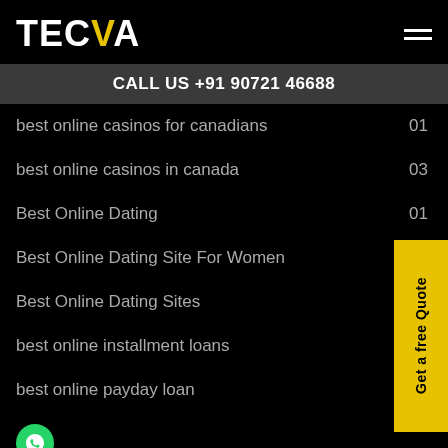TECVA
CALL US +91 90721 46688
best online casinos for canadians  01
best online casinos in canada  03
Best Online Dating  01
Best Online Dating Site For Women
Best Online Dating Sites
best online installment loans
best online payday loan
best online payday loans  03
best online title loan  04
best online title loans  05